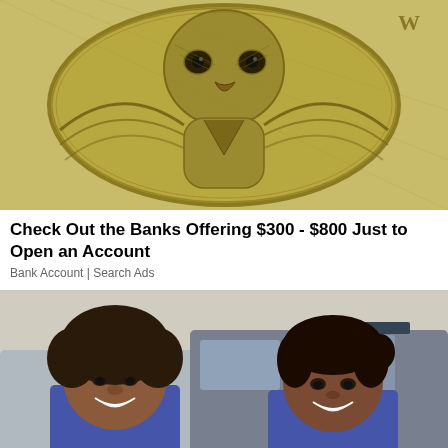[Figure (photo): Close-up photo of an eagle engraving on US currency (dollar bill), yellow-green tones, highly detailed engraved style]
Check Out the Banks Offering $300 - $800 Just to Open an Account
Bank Account | Search Ads
[Figure (photo): Two smiling people (appearing to be young women) outdoors near cars, one on left with curly short hair, one on right with hair pulled back, both in blue uniforms]